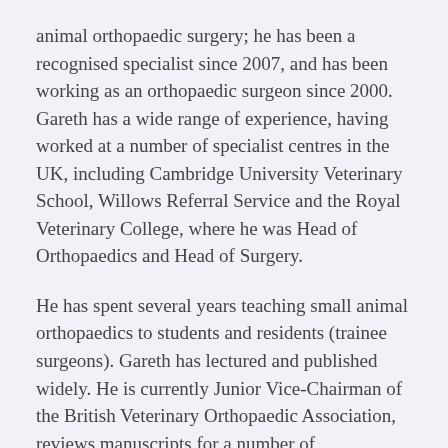animal orthopaedic surgery; he has been a recognised specialist since 2007, and has been working as an orthopaedic surgeon since 2000. Gareth has a wide range of experience, having worked at a number of specialist centres in the UK, including Cambridge University Veterinary School, Willows Referral Service and the Royal Veterinary College, where he was Head of Orthopaedics and Head of Surgery.
He has spent several years teaching small animal orthopaedics to students and residents (trainee surgeons). Gareth has lectured and published widely. He is currently Junior Vice-Chairman of the British Veterinary Orthopaedic Association, reviews manuscripts for a number of international journals, and is an examiner for the RCVS Diploma in Small Animal Surgery (Orthopaedics).